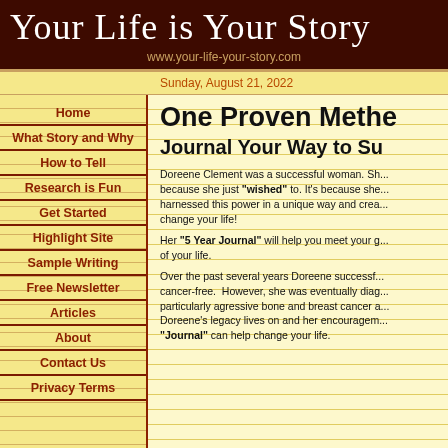Your Life is Your Story
www.your-life-your-story.com
Sunday, August 21, 2022
Home
What Story and Why
How to Tell
Research is Fun
Get Started
Highlight Site
Sample Writing
Free Newsletter
Articles
About
Contact Us
Privacy Terms
One Proven Metho...
Journal Your Way to Su...
Doreene Clement was a successful woman. She... because she just "wished" to. It's because she... harnessed this power in a unique way and crea... change your life!
Her "5 Year Journal" will help you meet your g... of your life.
Over the past several years Doreene successf... cancer-free. However, she was eventually diag... particularly agressive bone and breast cancer a... Doreene's legacy lives on and her encouragem... "Journal" can help change your life.